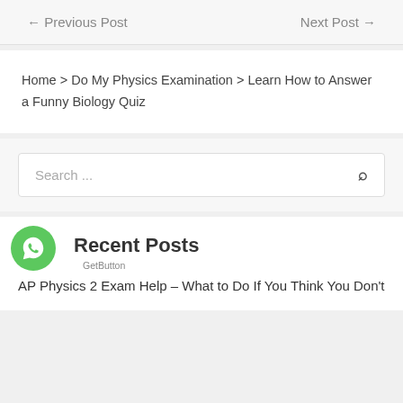← Previous Post    Next Post →
Home > Do My Physics Examination > Learn How to Answer a Funny Biology Quiz
Search ...
Recent Posts
GetButton
AP Physics 2 Exam Help – What to Do If You Think You Don't